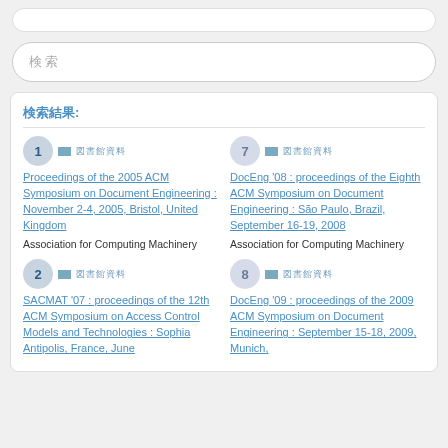検索結果:
1 | 図書館資料 | Proceedings of the 2005 ACM Symposium on Document Engineering : November 2-4, 2005, Bristol, United Kingdom | Association for Computing Machinery
7 | 図書館資料 | DocEng '08 : proceedings of the Eighth ACM Symposium on Document Engineering : São Paulo, Brazil, September 16-19, 2008 | Association for Computing Machinery
2 | 図書館資料 | SACMAT '07 : proceedings of the 12th ACM Symposium on Access Control Models and Technologies : Sophia Antipolis, France, June
8 | 図書館資料 | DocEng '09 : proceedings of the 2009 ACM Symposium on Document Engineering : September 15-18, 2009, Munich,